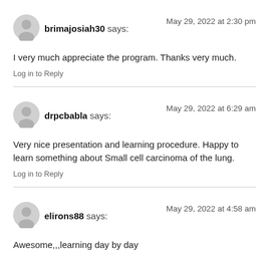[Figure (illustration): Generic user avatar icon (gray silhouette)]
brimajosiah30 says:
May 29, 2022 at 2:30 pm
I very much appreciate the program. Thanks very much.
Log in to Reply
[Figure (illustration): Generic user avatar icon (gray silhouette)]
drpcbabla says:
May 29, 2022 at 6:29 am
Very nice presentation and learning procedure. Happy to learn something about Small cell carcinoma of the lung.
Log in to Reply
[Figure (illustration): Generic user avatar icon (gray silhouette)]
elirons88 says:
May 29, 2022 at 4:58 am
Awesome,,,learning day by day